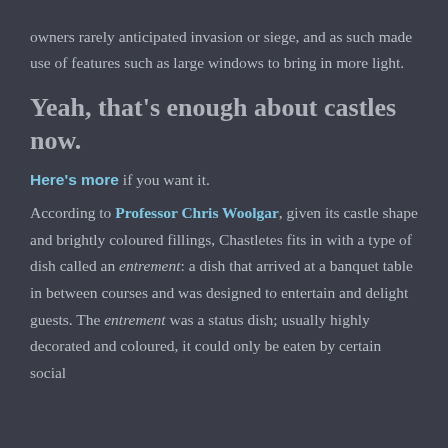owners rarely anticipated invasion or siege, and as such made use of features such as large windows to bring in more light.
Yeah, that's enough about castles now.
Here's more if you want it.
According to Professor Chris Woolgar, given its castle shape and brightly coloured fillings, Chastletes fits in with a type of dish called an entrement: a dish that arrived at a banquet table in between courses and was designed to entertain and delight guests. The entrement was a status dish; usually highly decorated and coloured, it could only be eaten by certain social